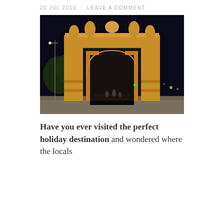20 JUL 2013 · LEAVE A COMMENT
[Figure (photo): Nighttime photograph of the Arc de Triomf in Barcelona, illuminated in golden/amber light against a dark sky, with green trees and city lights visible in the background and people in the distance beneath the arch.]
Have you ever visited the perfect holiday destination and wondered where the locals go to holiday? Barcelona, once a thriving